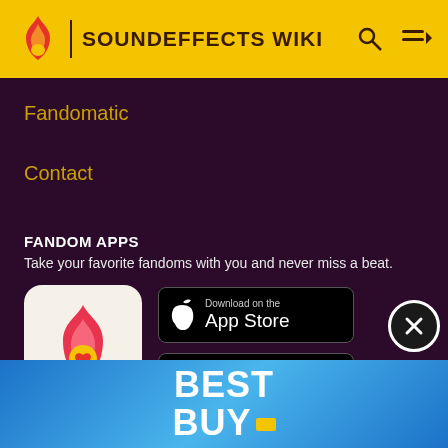SOUNDEFFECTS WIKI
Fandomatic
Contact
FANDOM APPS
Take your favorite fandoms with you and never miss a beat.
[Figure (logo): Fandom app icon — red/pink flame with yellow heart on light beige background]
[Figure (logo): Download on the App Store button (black rounded rectangle with Apple logo)]
[Figure (logo): GET IT ON Google Play button (black rounded rectangle with Google Play triangle logo)]
Soundeffects Wiki is a FANDOM Movies Community
[Figure (logo): Best Buy advertisement banner — blue gradient background with BEST BUY text in white and yellow price tag logo]